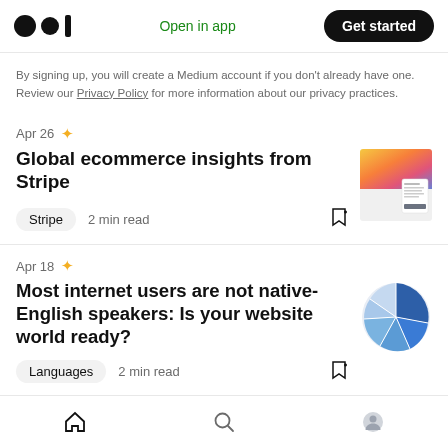Open in app | Get started
By signing up, you will create a Medium account if you don't already have one. Review our Privacy Policy for more information about our privacy practices.
Apr 26 ★
Global ecommerce insights from Stripe
Stripe  2 min read
[Figure (photo): Colorful gradient thumbnail image for Stripe article]
Apr 18 ★
Most internet users are not native-English speakers: Is your website world ready?
Languages  2 min read
[Figure (pie-chart): Pie chart thumbnail showing internet language distribution]
Home  Search  Profile